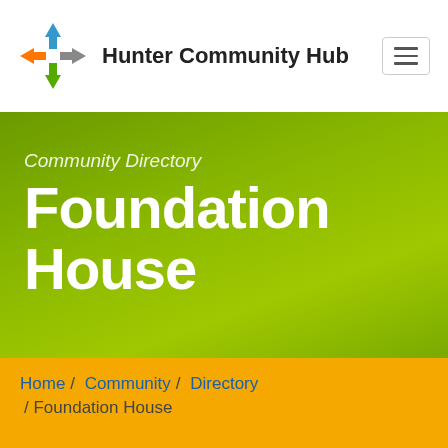[Figure (logo): Hunter Community Hub logo: colorful cross/arrow icon in blue, orange, green, and gray]
Hunter Community Hub
Community Directory
Foundation House
Home / Community / Directory / Foundation House